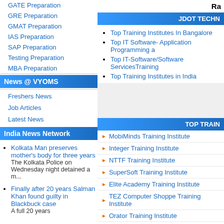GATE Preparation
GRE Preparation
GMAT Preparation
IAS Preparation
SAP Preparation
Testing Preparation
MBA Preparation
News @ VYOMS
Freshers News
Job Articles
Latest News
India News Network
Kolkata Man preserves mother's body for three years
The Kolkata Police on Wednesday night detained a m...
Finally after 20 years Salman Khan found guilty in Blackbuck case
A full 20 years
Ra
JDOT TECHN
Top Training Institutes In Bangalore
Top IT Software- Application Programming a
Top IT-Software/Software ServicesTraining
Top Training Institutes in India
TOP TRAIN
MobiMinds Training Institute
Integer Training Institute
NTTF Training Institute
SuperSoft Training Institute
Elite Academy Training Institute
TEZ Computer Shoppe Training Institute
Orator Training Institute
STG Training Institute
Karvin Training Institute